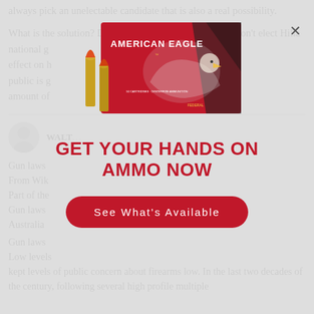always pick an unelectable candidate that is also a real possibility.
What is the solution? Don’t stick your head in the sand; don’t elect Hilla… national g… effect on h… public is g… amount of…
WALT…
Gun laws…
From Wik…
Part of the…
Gun laws…
Australia
Gun laws…
Low levels…
kept levels of public concern about firearms low. In the last two decades of the century, following several high profile multiple
[Figure (advertisement): American Eagle ammunition box advertisement with a bald eagle graphic. Red box labeled 'AMERICAN EAGLE' by Federal. Large rifle cartridges shown in front of the box. Below: 'GET YOUR HANDS ON AMMO NOW' in bold red text. Red rounded-rectangle button reading 'See What's Available'. Close button (X) in top-right corner.]